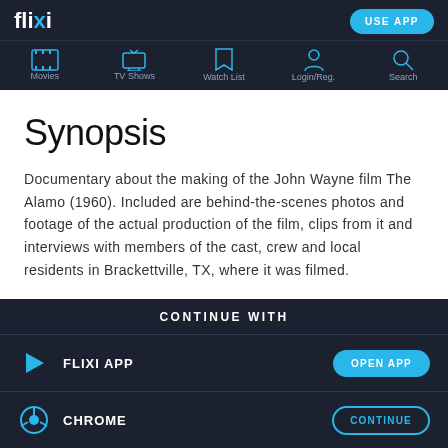flixi — USE APP — Movies, TV Shows, Watch List, Login/Reg., Search
Synopsis
Documentary about the making of the John Wayne film The Alamo (1960). Included are behind-the-scenes photos and footage of the actual production of the film, clips from it and interviews with members of the cast, crew and local residents in Brackettville, TX, where it was filmed.
CONTINUE WITH
FLIXI APP — OPEN APP
CHROME — CONTINUE